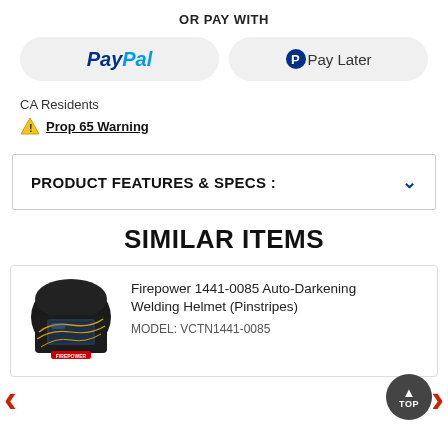OR PAY WITH
[Figure (other): PayPal payment button (rounded rectangle with PayPal logo) and Pay Later button side by side]
CA Residents
⚠ Prop 65 Warning
PRODUCT FEATURES & SPECS :
SIMILAR ITEMS
[Figure (other): Product card showing Firepower 1441-0085 Auto-Darkening Welding Helmet (Pinstripes) with image of black helmet with gold pinstripes design. MODEL: VCTN1441-0085]